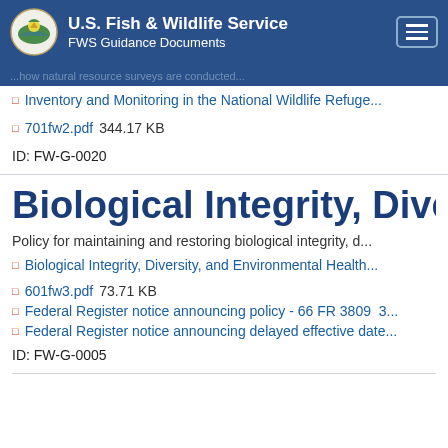U.S. Fish & Wildlife Service
FWS Guidance Documents
...how natural resource surveys are cond...
Inventory and Monitoring in the National Wildlife Refuge...
701fw2.pdf  344.17 KB
ID: FW-G-0020
Biological Integrity, Divers
Policy for maintaining and restoring biological integrity, d...
Biological Integrity, Diversity, and Environmental Health...
601fw3.pdf  73.71 KB
Federal Register notice announcing policy - 66 FR 3809  3...
Federal Register notice announcing delayed effective date...
ID: FW-G-0005